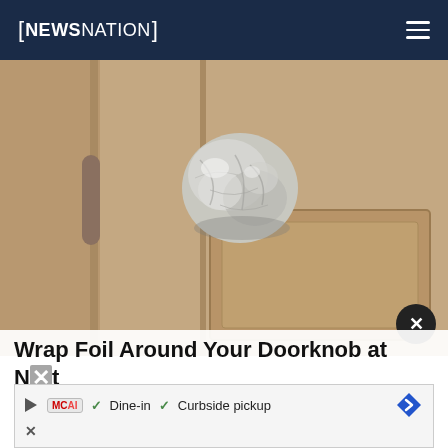NEWSNATION
[Figure (photo): A door knob wrapped in crumpled aluminum/tin foil on a wooden interior door with panel detail.]
Wrap Foil Around Your Doorknob at Night if Alone, Here's Why
Sage...
[Figure (infographic): Advertisement overlay showing McAI play button, checkmark Dine-in, checkmark Curbside pickup, and a blue diamond navigation icon. An X close button visible.]